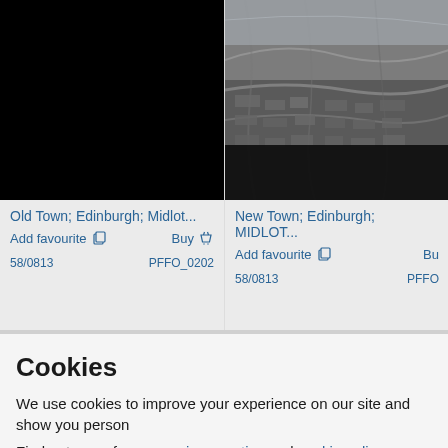[Figure (screenshot): Black rectangle image placeholder for Old Town Edinburgh photo]
Old Town; Edinburgh; Midlot...
Add favourite  Buy
58/0813  PFFO_0202
[Figure (photo): Aerial black and white photograph of New Town Edinburgh showing streets and buildings]
New Town; Edinburgh; MIDLOT...
Add favourite  Bu
58/0813  PFFO
Cookies
We use cookies to improve your experience on our site and show you person
Find out more from our privacy notice and cookie policy.
Accept all and close
Your options